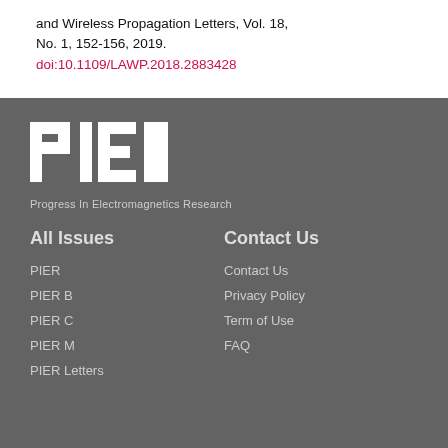and Wireless Propagation Letters, Vol. 18, No. 1, 152-156, 2019.
doi:10.1109/LAWP.2018.2883428
[Figure (logo): PIER logo — large white bold letters 'PIER' on dark grey background, with tagline 'Progress In Electromagnetics Research' below]
All Issues
Contact Us
PIER
PIER B
PIER C
PIER M
PIER Letters
Contact Us
Privacy Policy
Term of Use
FAQ